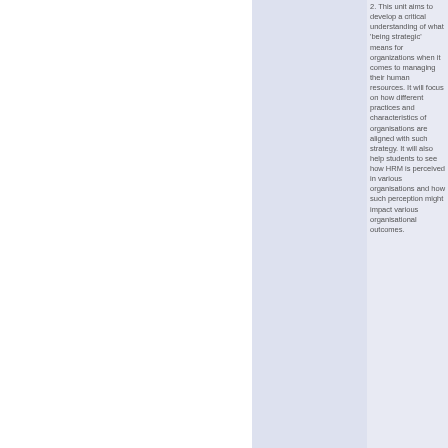2. This unit aims to develop a critical understanding of what 'being strategic' means for organizations when it comes to managing their human resources. It will focus on how different practices and characteristics of organisations are aligned with such strategy. It will also help students to see how HRM is perceived in various organisations and how such perception might impact various organisational outcomes.